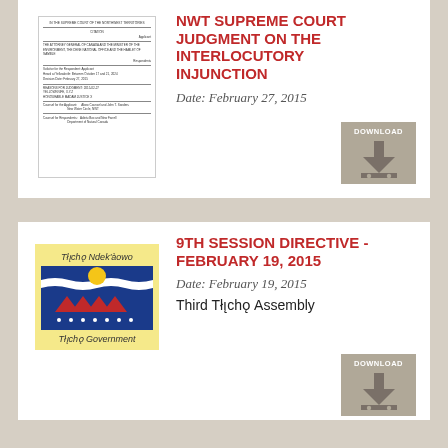[Figure (other): Thumbnail image of a court document page]
NWT SUPREME COURT JUDGMENT ON THE INTERLOCUTORY INJUNCTION
Date: February 27, 2015
[Figure (other): Download button icon]
[Figure (logo): Tlicho Government logo with flag showing sun and mountains]
9TH SESSION DIRECTIVE - FEBRUARY 19, 2015
Date: February 19, 2015
Third Tłı̨chǫ Assembly
[Figure (other): Download button icon]